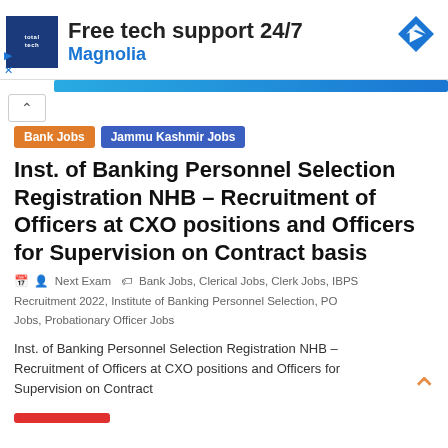[Figure (screenshot): Advertisement banner: totaltech logo, 'Free tech support 24/7 Magnolia' text, blue diamond navigation icon]
Bank Jobs   Jammu Kashmir Jobs
Inst. of Banking Personnel Selection Registration NHB – Recruitment of Officers at CXO positions and Officers for Supervision on Contract basis
Next Exam  Bank Jobs, Clerical Jobs, Clerk Jobs, IBPS Recruitment 2022, Institute of Banking Personnel Selection, PO Jobs, Probationary Officer Jobs
Inst. of Banking Personnel Selection Registration NHB – Recruitment of Officers at CXO positions and Officers for Supervision on Contract